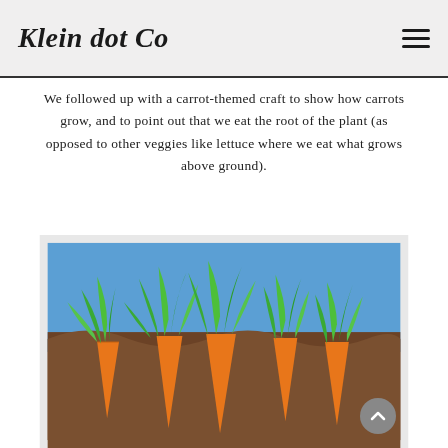Klein dot Co
We followed up with a carrot-themed craft to show how carrots grow, and to point out that we eat the root of the plant (as opposed to other veggies like lettuce where we eat what grows above ground).
[Figure (photo): A children's craft project showing paper carrots with green leafy tops made from handprints, partially buried in brown paper soil against a blue paper sky background.]